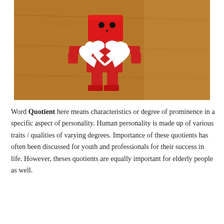[Figure (photo): A red box figure/robot toy holding a broken white heart, placed on a wooden surface. The toy has simple dot eyes and a small triangular nose drawn on its box-shaped head.]
Word Quotient here means characteristics or degree of prominence in a specific aspect of personality. Human personality is made up of various traits / qualities of varying degrees. Importance of these quotients has often been discussed for youth and professionals for their success in life. However, theses quotients are equally important for elderly people as well.